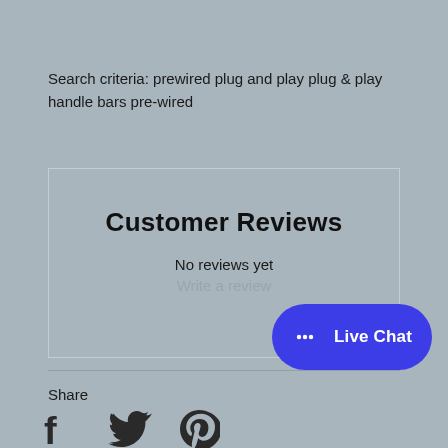Search criteria: prewired plug and play plug & play handle bars pre-wired
Customer Reviews
No reviews yet
Write a review
[Figure (infographic): Live Chat button with speech bubble icon and text 'Live Chat' on blue rounded pill background]
Share
[Figure (infographic): Social media icons: Facebook, Twitter, Pinterest]